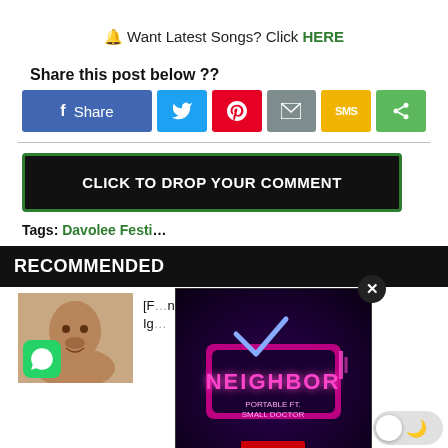🔔 Want Latest Songs? Click HERE
Share this post below ??
[Figure (infographic): Social share buttons row: Facebook Share, Twitter, Pinterest, Email, SMS, Share]
CLICK TO DROP YOUR COMMENT
Tags: Davolee Festi...
RECOMMENDED
[F... nokay – Ab... Ig...
[Figure (photo): Popup overlay showing Neighbor by Portable ft. Small Doctor album art with pink neon sign style graphic. Close button (X) visible top right of overlay.]